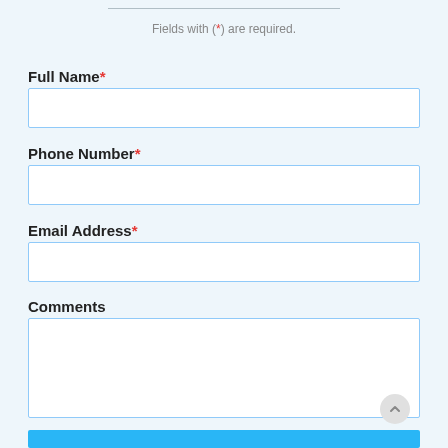Fields with (*) are required.
Full Name*
Phone Number*
Email Address*
Comments